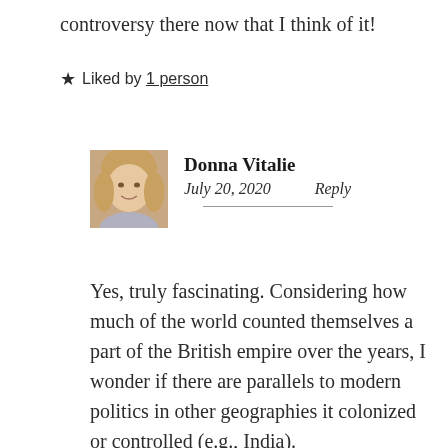controversy there now that I think of it!
★ Liked by 1 person
Donna Vitalie
July 20, 2020    Reply
[Figure (photo): Avatar photo of Donna Vitalie, a woman with blonde hair]
Yes, truly fascinating. Considering how much of the world counted themselves a part of the British empire over the years, I wonder if there are parallels to modern politics in other geographies it colonized or controlled (e.g., India).